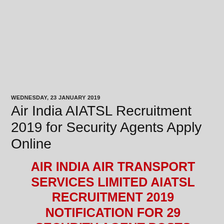WEDNESDAY, 23 JANUARY 2019
Air India AIATSL Recruitment 2019 for Security Agents Apply Online
AIR INDIA AIR TRANSPORT SERVICES LIMITED AIATSL RECRUITMENT 2019 NOTIFICATION FOR 29 SECURITY AGENT POSTS
Air India Air Transport Services Limited AIATSL Recruitment 2019-20 (Government Jobs in India)